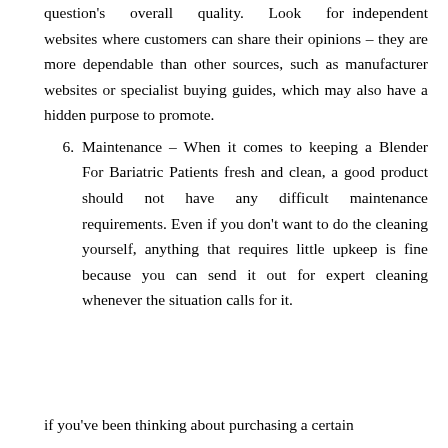question's overall quality. Look for independent websites where customers can share their opinions – they are more dependable than other sources, such as manufacturer websites or specialist buying guides, which may also have a hidden purpose to promote.
6. Maintenance – When it comes to keeping a Blender For Bariatric Patients fresh and clean, a good product should not have any difficult maintenance requirements. Even if you don't want to do the cleaning yourself, anything that requires little upkeep is fine because you can send it out for expert cleaning whenever the situation calls for it.
if you've been thinking about purchasing a certain